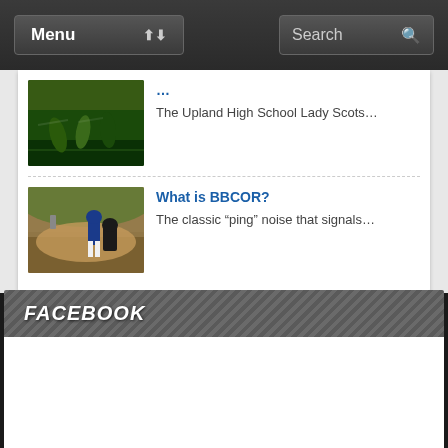Menu | Search
[Figure (screenshot): Thumbnail image of football players running on a field at night]
The Upland High School Lady Scots...
[Figure (screenshot): Thumbnail image of baseball game with batter in blue helmet and umpire]
What is BBCOR?
The classic “ping” noise that signals...
FACEBOOK